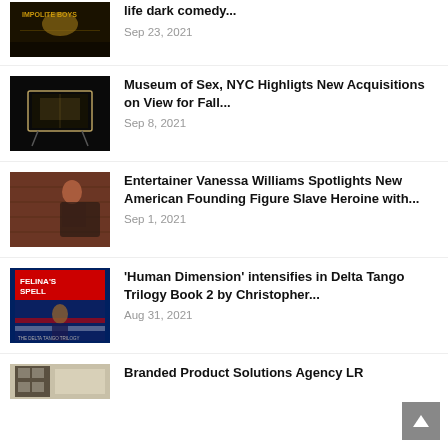[Figure (photo): Book cover: Impolite Boys, dark background with golden figures]
life dark comedy...
Sep 23, 2021
[Figure (photo): Museum exhibit photo: illuminated display case in dark room]
Museum of Sex, NYC Highligts New Acquisitions on View for Fall...
Sep 8, 2021
[Figure (photo): Woman with red hair sitting in a leather chair, brick wall background]
Entertainer Vanessa Williams Spotlights New American Founding Figure Slave Heroine with...
Sep 1, 2021
[Figure (photo): Book cover: Felina's Spell, Delta Tango Trilogy]
'Human Dimension' intensifies in Delta Tango Trilogy Book 2 by Christopher...
Aug 31, 2021
[Figure (photo): Partial image of a building or storefront, partially visible at bottom]
Branded Product Solutions Agency LR